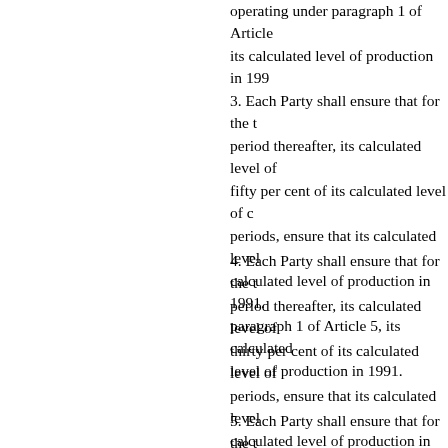operating under paragraph 1 of Article its calculated level of production in 199
3. Each Party shall ensure that for the t period thereafter, its calculated level of fifty per cent of its calculated level of c periods, ensure that its calculated level calculated level of production in 1991. paragraph 1 of Article 5, its calculated level of production in 1991.
4. Each Party shall ensure that for the t period thereafter, its calculated level of thirty per cent of its calculated level of periods, ensure that its calculated level calculated level of production in 1991. paragraph 1 of Article 5, its calculated level of production in 1991.
5. Each Party shall ensure that for the t period thereafter, its calculated level of